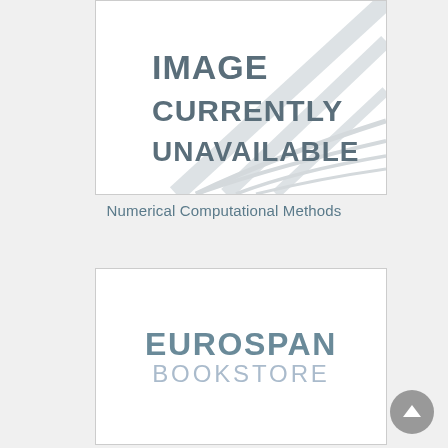[Figure (other): Image currently unavailable placeholder with diagonal lines and book/pages watermark graphic]
Numerical Computational Methods
[Figure (logo): Eurospan Bookstore logo — EUROSPAN in bold slate blue, BOOKSTORE in lighter gray below]